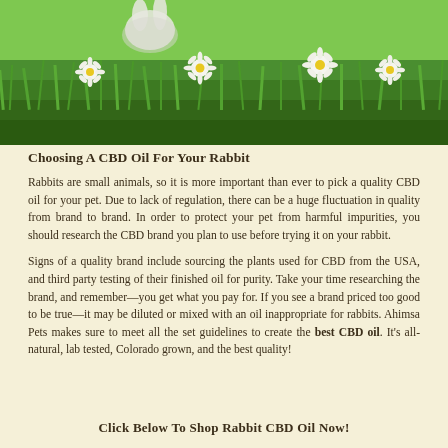[Figure (photo): A rabbit among white daisy flowers and green grass in an outdoor meadow setting]
Choosing A CBD Oil For Your Rabbit
Rabbits are small animals, so it is more important than ever to pick a quality CBD oil for your pet. Due to lack of regulation, there can be a huge fluctuation in quality from brand to brand. In order to protect your pet from harmful impurities, you should research the CBD brand you plan to use before trying it on your rabbit.
Signs of a quality brand include sourcing the plants used for CBD from the USA, and third party testing of their finished oil for purity. Take your time researching the brand, and remember—you get what you pay for. If you see a brand priced too good to be true—it may be diluted or mixed with an oil inappropriate for rabbits. Ahimsa Pets makes sure to meet all the set guidelines to create the best CBD oil. It's all-natural, lab tested, Colorado grown, and the best quality!
Click Below To Shop Rabbit CBD Oil Now!